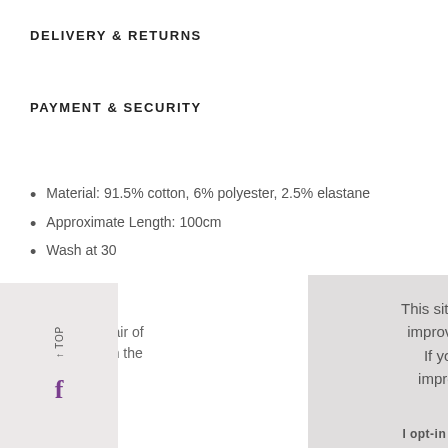DELIVERY & RETURNS
PAYMENT & SECURITY
Material: 91.5% cotton, 6% polyester, 2.5% elastane
Approximate Length: 100cm
Wash at 30
The perfect pair of ... every day with the ...
This site uses cookies to provide and improve your shopping experience. If you want to benefit from this improved service, please opt-in. Cookies Page.

I opt-in to a better browsing experience

ACCEPT COOKIES